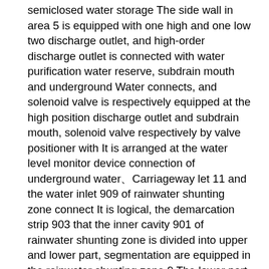semiclosed water storage The side wall in area 5 is equipped with one high and one low two discharge outlet, and high-order discharge outlet is connected with water purification water reserve, subdrain mouth and underground Water connects, and solenoid valve is respectively equipped at the high position discharge outlet and subdrain mouth, solenoid valve respectively by valve positioner with It is arranged at the water level monitor device connection of underground water、Carriageway let 11 and the water inlet 909 of rainwater shunting zone connect It is logical, the demarcation strip 903 that the inner cavity 901 of rainwater shunting zone is divided into upper and lower part, segmentation are equipped in the rainwater shunting zone 9 The lower part of plate 903 is first rain collecting region, and top is later stage rainwater-collecting area, and later stage rainwater-collecting area is equipped with kickboard 910, later stage rain Water collecting region inner wall is equipped with to shelve the fixed frame 902 of kickboard 910, and 910 lower end of kickboard passes through soft connecting line 907 and one The top connection of round platform plug 905, the top diameter of round platform plug 905 are less than base diameter, and demarcation strip 903 offers shape and